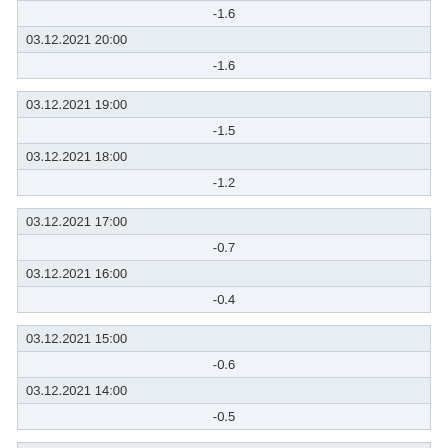| -1.6 |
| 03.12.2021 20:00 |
| -1.6 |
| 03.12.2021 19:00 |
| -1.5 |
| 03.12.2021 18:00 |
| -1.2 |
| 03.12.2021 17:00 |
| -0.7 |
| 03.12.2021 16:00 |
| -0.4 |
| 03.12.2021 15:00 |
| -0.6 |
| 03.12.2021 14:00 |
| -0.5 |
| 03.12.2021 13:00 |